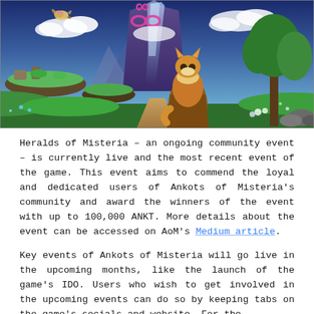[Figure (illustration): Fantasy game artwork showing a cartoon animal character (fox/cat creature with brown fur) looking out over a colorful landscape with floating islands, glowing mountains, green fields, and a bird flying in the sky. A pink infinity-like logo is visible in the upper center.]
Heralds of Misteria – an ongoing community event – is currently live and the most recent event of the game. This event aims to commend the loyal and dedicated users of Ankots of Misteria's community and award the winners of the event with up to 100,000 ANKT. More details about the event can be accessed on AoM's Medium article.
Key events of Ankots of Misteria will go live in the upcoming months, like the launch of the game's IDO. Users who wish to get involved in the upcoming events can do so by keeping tabs on the game's socials and website. For the